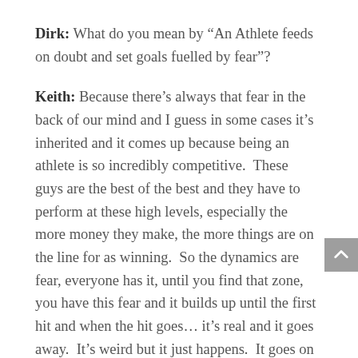Dirk: What do you mean by "An Athlete feeds on doubt and set goals fuelled by fear"?
Keith: Because there's always that fear in the back of our mind and I guess in some cases it's inherited and it comes up because being an athlete is so incredibly competitive.  These guys are the best of the best and they have to perform at these high levels, especially the more money they make, the more things are on the line for as winning.  So the dynamics are fear, everyone has it, until you find that zone, you have this fear and it builds up until the first hit and when the hit goes… it's real and it goes away.  It's weird but it just happens.  It goes on in every athlete from